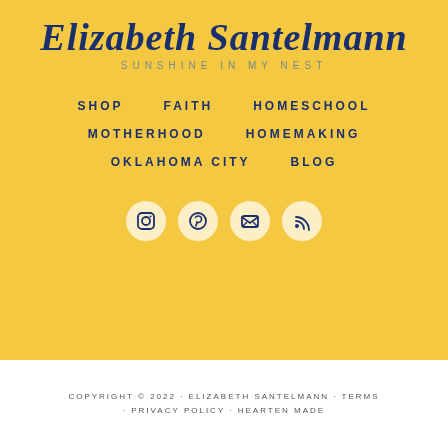[Figure (logo): Elizabeth Santelmann cursive script logo with subtitle SUNSHINE IN MY NEST on yellow background]
SHOP
FAITH
HOMESCHOOL
MOTHERHOOD
HOMEMAKING
OKLAHOMA CITY
BLOG
[Figure (illustration): Four social media icon circles: Instagram, Pinterest, email/X, RSS feed]
COPYRIGHT © 2022 · ELIZABETH SANTELMANN · TERMS · PRIVACY POLICY · HEARTEN MADE